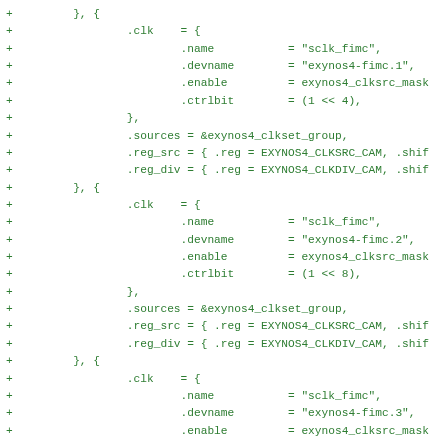+         }, {
+                 .clk    = {
+                         .name           = "sclk_fimc",
+                         .devname        = "exynos4-fimc.1",
+                         .enable         = exynos4_clksrc_mask
+                         .ctrlbit        = (1 << 4),
+                 },
+                 .sources = &exynos4_clkset_group,
+                 .reg_src = { .reg = EXYNOS4_CLKSRC_CAM, .shif
+                 .reg_div = { .reg = EXYNOS4_CLKDIV_CAM, .shif
+         }, {
+                 .clk    = {
+                         .name           = "sclk_fimc",
+                         .devname        = "exynos4-fimc.2",
+                         .enable         = exynos4_clksrc_mask
+                         .ctrlbit        = (1 << 8),
+                 },
+                 .sources = &exynos4_clkset_group,
+                 .reg_src = { .reg = EXYNOS4_CLKSRC_CAM, .shif
+                 .reg_div = { .reg = EXYNOS4_CLKDIV_CAM, .shif
+         }, {
+                 .clk    = {
+                         .name           = "sclk_fimc",
+                         .devname        = "exynos4-fimc.3",
+                         .enable         = exynos4_clksrc_mask